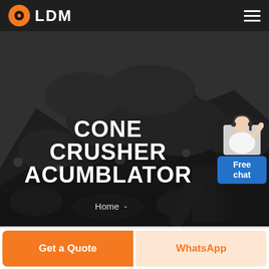[Figure (photo): Dark rocky mountain/quarry landscape in grayscale forming the hero background of a mining equipment website]
LDM
[Figure (illustration): Customer service representative figure with Free chat button in blue]
CONE CRUSHER ACUMBLATOR
Home -
Get a Quote
WhatsApp